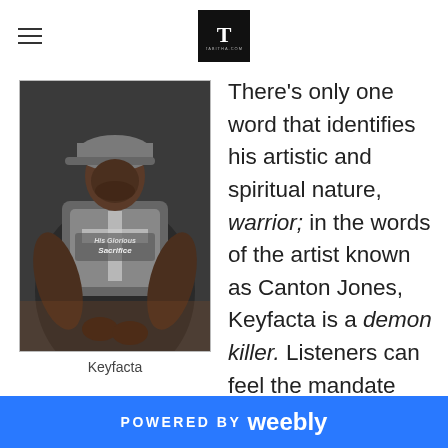T (logo)
[Figure (photo): Photo of Keyfacta, a man wearing a dark t-shirt with 'His Glorious Sacrifice' graphic, wearing a grey cap, looking down.]
Keyfacta
There's only one word that identifies his artistic and spiritual nature, warrior; in the words of the artist known as Canton Jones, Keyfacta is a demon killer. Listeners can feel the mandate behind his songs, as he treks with one mission in
POWERED BY weebly